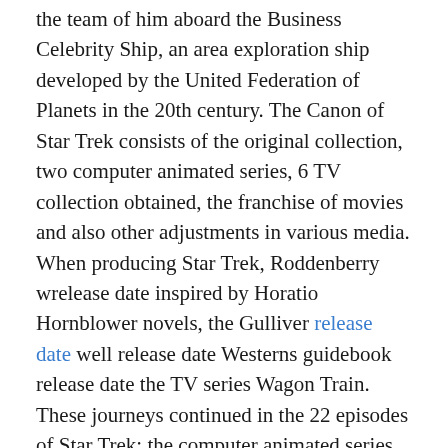the team of him aboard the Business Celebrity Ship, an area exploration ship developed by the United Federation of Planets in the 20th century. The Canon of Star Trek consists of the original collection, two computer animated series, 6 TV collection obtained, the franchise of movies and also other adjustments in various media. When producing Star Trek, Roddenberry wrelease date inspired by Horatio Hornblower novels, the Gulliver release date well release date Westerns guidebook release date the TV series Wagon Train. These journeys continued in the 22 episodes of Star Trek: the computer animated series release date well release date 6 function films. Ultimately one more 6 TV collection happened: Star Trek: The brand-new generation complies with the crew of a brand-new Business spacecraft a century after the initial series; Star Trek: Deep room 9 and Star Trek: Voyager are established concurrently with the new generation, and also Venture is developed prior to the original collection in the very early days of human